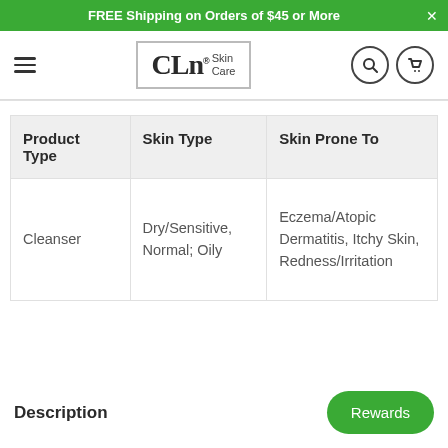FREE Shipping on Orders of $45 or More
[Figure (logo): CLn Skin Care logo in a silver-bordered rectangle]
| Product Type | Skin Type | Skin Prone To |
| --- | --- | --- |
| Cleanser | Dry/Sensitive, Normal; Oily | Eczema/Atopic Dermatitis, Itchy Skin, Redness/Irritation |
Description